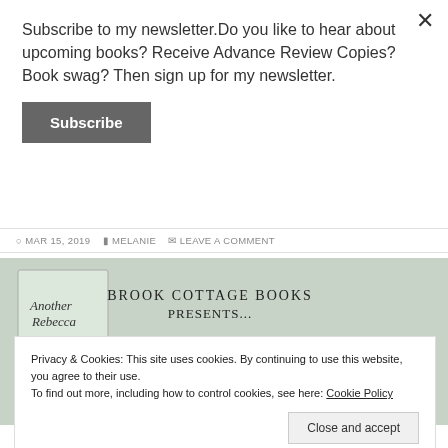Subscribe to my newsletter.Do you like to hear about upcoming books? Receive Advance Review Copies? Book swag? Then sign up for my newsletter.
Subscribe
MAR 15, 2019  MELANIE  LEAVE A COMMENT
[Figure (illustration): Brook Cottage Books presents 'Another Rebecca' book banner with book cover and large stylized text reading 'Another' with '4-15' on right side]
Privacy & Cookies: This site uses cookies. By continuing to use this website, you agree to their use.
To find out more, including how to control cookies, see here: Cookie Policy
Close and accept
ANOTHER REBECCA